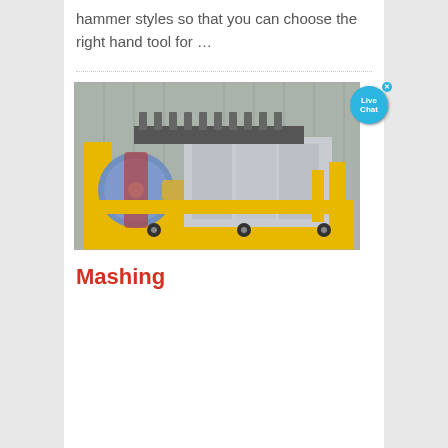hammer styles so that you can choose the right hand tool for …
[Figure (photo): Industrial hammer mill or crushing machine with yellow frame, large flywheel with blue belt, and grey metal components, stored inside a shipping container. A 'Live Chat' button overlay appears in the top right corner.]
Mashing